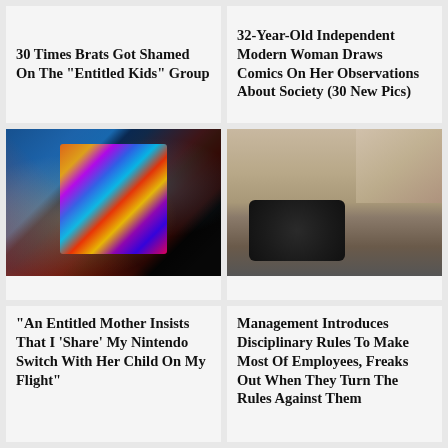30 Times Brats Got Shamed On The "Entitled Kids" Group
32-Year-Old Independent Modern Woman Draws Comics On Her Observations About Society (30 New Pics)
[Figure (photo): Person holding a Nintendo Switch gaming console showing a colorful game on screen]
[Figure (photo): Hand inserting a card/paper into a brown box with a clock visible in the background]
"An Entitled Mother Insists That I 'Share' My Nintendo Switch With Her Child On My Flight"
Management Introduces Disciplinary Rules To Make Most Of Employees, Freaks Out When They Turn The Rules Against Them